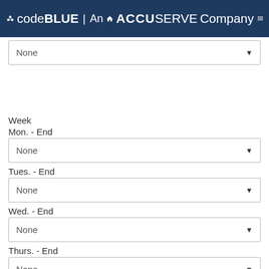codeblue | An ACCUSERVE Company
[Figure (screenshot): Dropdown selector showing 'None' at the top of the page]
Week
Mon. - End
[Figure (screenshot): Dropdown selector showing 'None' for Mon. - End]
Tues. - End
[Figure (screenshot): Dropdown selector showing 'None' for Tues. - End]
Wed. - End
[Figure (screenshot): Dropdown selector showing 'None' for Wed. - End]
Thurs. - End
[Figure (screenshot): Dropdown selector showing 'None' for Thurs. - End]
Fri. - End